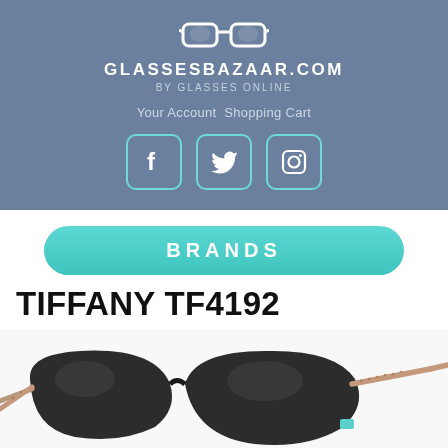GLASSESBAZAAR.COM BY GLASSES ONLINE
Your Account  Shopping Cart
[Figure (logo): GlassesBazaar.com logo with glasses icon and social media icons for Facebook, Twitter, and Instagram]
BRANDS
TIFFANY TF4192
[Figure (photo): Product photo of Tiffany TF4192 sunglasses - large black cat-eye frames with rose gold temple arms and teal Tiffany accent]